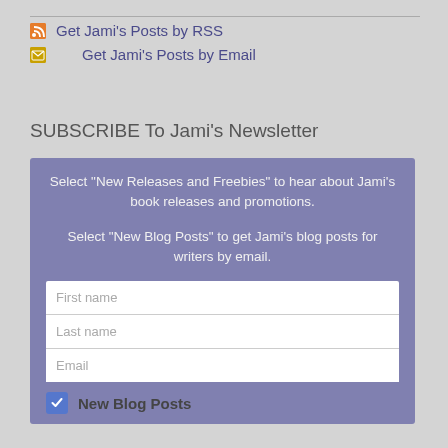Get Jami's Posts by RSS
Get Jami's Posts by Email
SUBSCRIBE To Jami's Newsletter
Select "New Releases and Freebies" to hear about Jami's book releases and promotions.
Select "New Blog Posts" to get Jami's blog posts for writers by email.
First name
Last name
Email
New Blog Posts